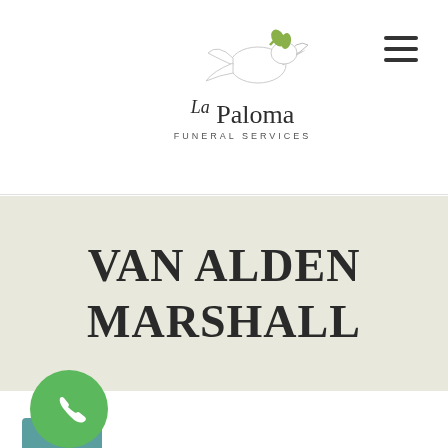[Figure (logo): La Paloma Funeral Services logo with dove bird graphic above the text]
VAN ALDEN MARSHALL
[Figure (other): Green circular phone contact button and teal bar at bottom left corner]